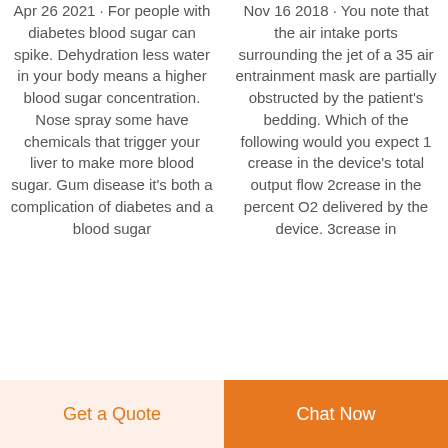Apr 26 2021 · For people with diabetes blood sugar can spike. Dehydration less water in your body means a higher blood sugar concentration. Nose spray some have chemicals that trigger your liver to make more blood sugar. Gum disease it's both a complication of diabetes and a blood sugar...
Nov 16 2018 · You note that the air intake ports surrounding the jet of a 35 air entrainment mask are partially obstructed by the patient's bedding. Which of the following would you expect 1 crease in the device's total output flow 2crease in the percent O2 delivered by the device. 3crease in...
Get a Quote   Chat Now